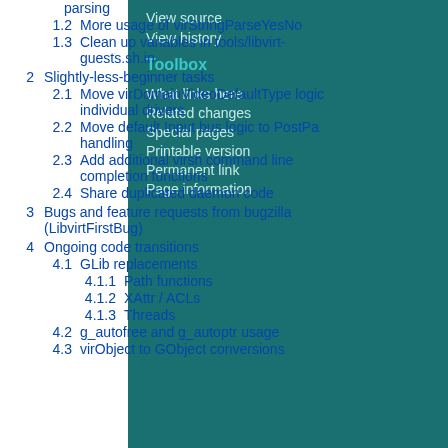parsing
1.2  More usage of virStringParseYesNo
1.3  Clean up variables in tools/libvirt-guests.sh.in
2  Slightly-less-beginner tasks
2.1  Move virDomainVideoDefaultType logic individual drivers
2.2  Move default Input bus logic to PostPa handling
2.3  Add additional virsh command line completion functions
2.4  Share duplicated daemon code
3  Bugs and feature requests from bugzilla (LibvirtFirstBug)
4  Ongoing code transitions
4.1  GLib replacements
4.1.1  Path functions
4.1.2  XAttr / ACLs
4.1.3  Threads
4.2  g_autofree and g_autoptr usage
4.3  virObject to GObject conversions
View source
View history
Toolbox
What links here
Related changes
Special pages
Printable version
Permanent link
Page information